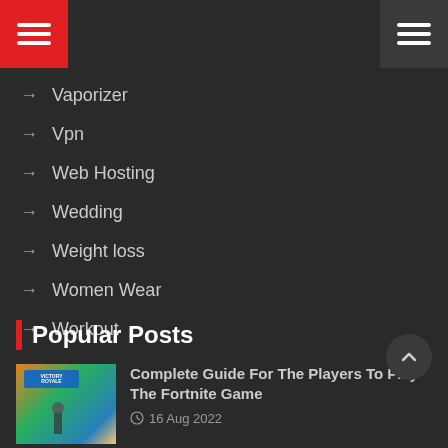Navigation menu header with red hamburger button (left) and dark hamburger button (right)
→ Vaporizer
→ Vpn
→ Web Hosting
→ Wedding
→ Weight loss
→ Women Wear
→ Workout
Popular Posts
[Figure (photo): Fortnite game screenshot showing Victory Royale sign]
Complete Guide For The Players To Play The Fortnite Game
16 Aug 2022
[Figure (photo): House with red roof on white background]
What Aspects Of The Economy Must Be Checked While Purchasing The